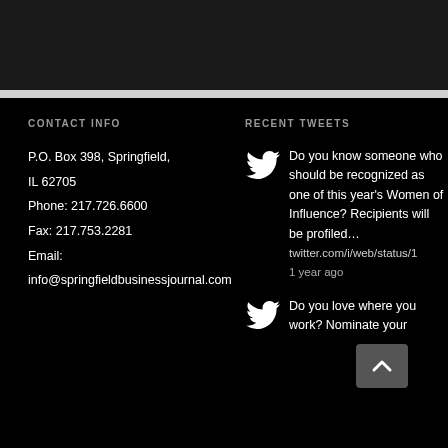CONTACT INFO
P.O. Box 398, Springfield, IL 62705
Phone: 217.726.6600
Fax: 217.753.2281
Email:
info@springfieldbusinessjournal.com
RECENT TWEETS
Do you know someone who should be recognized as one of this year's Women of Influence? Recipients will be profiled… twitter.com/i/web/status/1 1 year ago
Do you love where you work? Nominate your